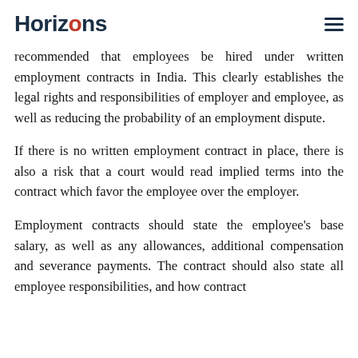Horizons
recommended that employees be hired under written employment contracts in India. This clearly establishes the legal rights and responsibilities of employer and employee, as well as reducing the probability of an employment dispute.
If there is no written employment contract in place, there is also a risk that a court would read implied terms into the contract which favor the employee over the employer.
Employment contracts should state the employee's base salary, as well as any allowances, additional compensation and severance payments. The contract should also state all employee responsibilities, and how contract